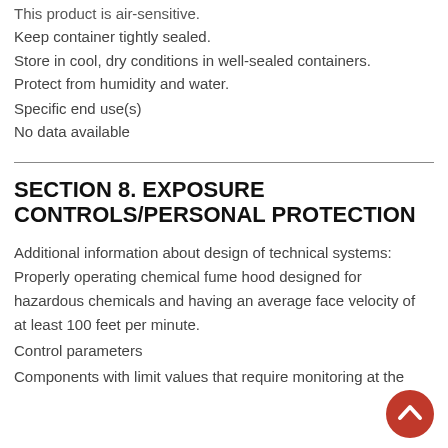This product is air-sensitive.
Keep container tightly sealed.
Store in cool, dry conditions in well-sealed containers.
Protect from humidity and water.
Specific end use(s)
No data available
SECTION 8. EXPOSURE CONTROLS/PERSONAL PROTECTION
Additional information about design of technical systems: Properly operating chemical fume hood designed for hazardous chemicals and having an average face velocity of at least 100 feet per minute.
Control parameters
Components with limit values that require monitoring at the